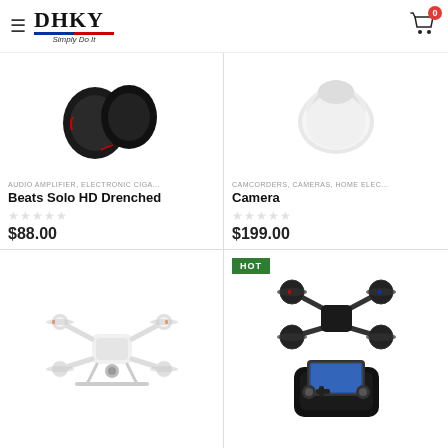DHKY Simply Do It
[Figure (photo): Beats Solo HD Drenched headphones (dark circular audio device)]
AUDIO AMPLIFIER, ELECTRONIC CIGA...
Beats Solo HD Drenched
$88.00
[Figure (photo): White rounded camera/smart speaker device]
CAMCORDERS, CAMERAS, HOME ELEC...
Camera
$199.00
[Figure (photo): White quadcopter drone]
[Figure (photo): Black drone quadcopter with controller and smartphone mount, labeled HOT]